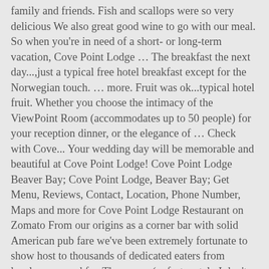family and friends. Fish and scallops were so very delicious We also great good wine to go with our meal. So when you're in need of a short- or long-term vacation, Cove Point Lodge ... The breakfast the next day...,just a typical free hotel breakfast except for the Norwegian touch. ... more. Fruit was ok...typical hotel fruit. Whether you choose the intimacy of the ViewPoint Room (accommodates up to 50 people) for your reception dinner, or the elegance of ... Check with Cove... Your wedding day will be memorable and beautiful at Cove Point Lodge! Cove Point Lodge Beaver Bay; Cove Point Lodge, Beaver Bay; Get Menu, Reviews, Contact, Location, Phone Number, Maps and more for Cove Point Lodge Restaurant on Zomato From our origins as a corner bar with solid American pub fare we've been extremely fortunate to show host to thousands of dedicated eaters from locales near and far. The server (unfortunately I don't remember his name) was the friendliest gentleman and his recommendations were perfect. [Laugh]. Order Online and enjoy a meal at home or in your cottage or lodge room. Obviously, I am not a fine diner -- but if YOU...are, you will be jazzed about this restaurant! Cove Point Lodge Restaurant, Beaver Bay: See 69 unbiased reviews of Cove Point Lodge Restaurant, rated 4 of 5 on Tripadvisor and ranked #5 of 5 restaurants in Beaver Bay. The best place to stay around Sunset Cove ... Although they were busy, we were able to see the stunning setting from our table. ... are, you will be